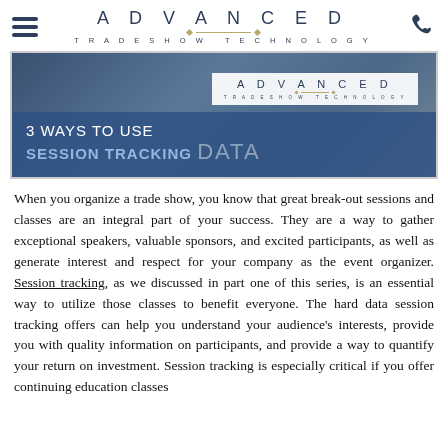ADVANCED TRADESHOW TECHNOLOGY
[Figure (screenshot): Hero image showing the text '3 WAYS TO USE SESSION TRACKING DATA' overlaid on a blue background, with the Advanced Tradeshow Technology logo in the upper right of the image.]
When you organize a trade show, you know that great break-out sessions and classes are an integral part of your success. They are a way to gather exceptional speakers, valuable sponsors, and excited participants, as well as generate interest and respect for your company as the event organizer. Session tracking, as we discussed in part one of this series, is an essential way to utilize those classes to benefit everyone. The hard data session tracking offers can help you understand your audience's interests, provide you with quality information on participants, and provide a way to quantify your return on investment. Session tracking is especially critical if you offer continuing education classes